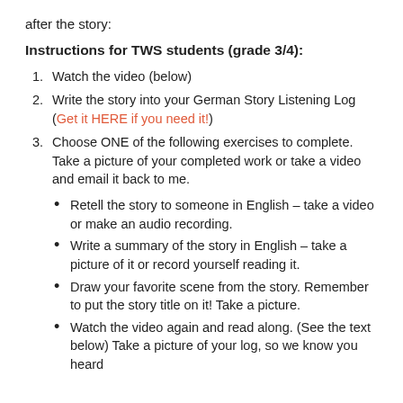after the story:
Instructions for TWS students (grade 3/4):
1. Watch the video (below)
2. Write the story into your German Story Listening Log (Get it HERE if you need it!)
3. Choose ONE of the following exercises to complete. Take a picture of your completed work or take a video and email it back to me.
Retell the story to someone in English – take a video or make an audio recording.
Write a summary of the story in English – take a picture of it or record yourself reading it.
Draw your favorite scene from the story. Remember to put the story title on it! Take a picture.
Watch the video again and read along. (See the text below) Take a picture of your log, so we know you heard